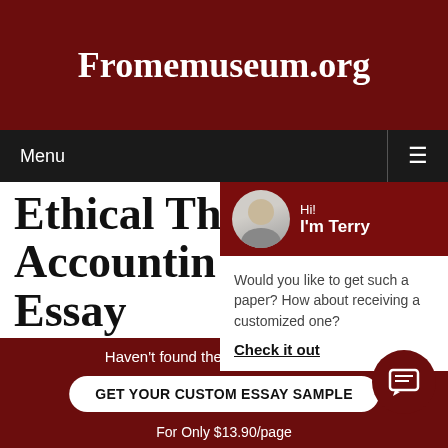Fromemuseum.org
Menu
[Figure (screenshot): Terry avatar with greeting: Hi! I'm Terry, with prompt 'Would you like to get such a paper? How about receiving a customized one?' and Check it out link]
Ethical Th... Accountin... Essay
November 13, 2018 | No C...
One area that should be considered when planning an...
Haven't found the Essay You Want?
GET YOUR CUSTOM ESSAY SAMPLE
For Only $13.90/page